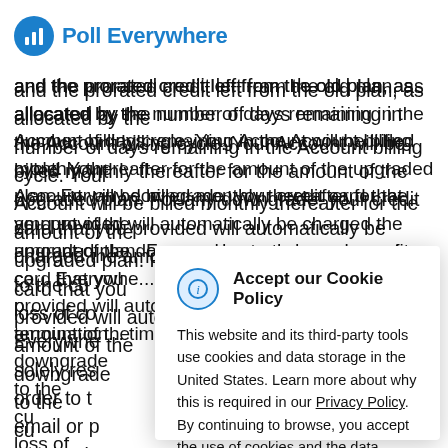Poll Everywhere
and the prorated credit left from the old plan, as allocated by the number of days remaining in the Account billing cycle. Your Account will be billed monthly thereafter for the amount of the upgraded plan. For any downgrade, your credit card that you provided will automatically be charged the amount of the downgrade... to the current... loss of co... Everywhere... solely res... order to t... email or p... termination... time by cl... bar at the...
Accept our Cookie Policy
This website and its third-party tools use cookies and data storage in the United States. Learn more about why this is required in our Privacy Policy. By continuing to browse, you accept the use of cookies and the data protection policy.
Agree
Dismiss